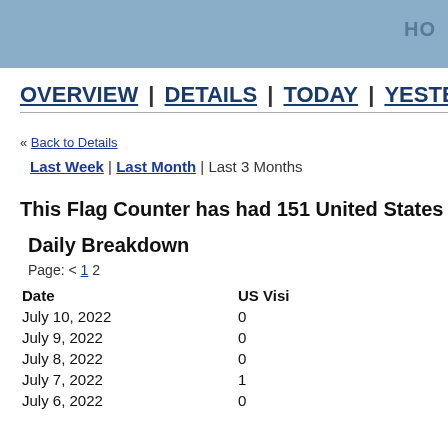HO
OVERVIEW | DETAILS | TODAY | YESTERDAY |
« Back to Details
Last Week | Last Month | Last 3 Months
This Flag Counter has had 151 United States visit
Daily Breakdown
Page: < 1 2
| Date | US Visi |
| --- | --- |
| July 10, 2022 | 0 |
| July 9, 2022 | 0 |
| July 8, 2022 | 0 |
| July 7, 2022 | 1 |
| July 6, 2022 | 0 |